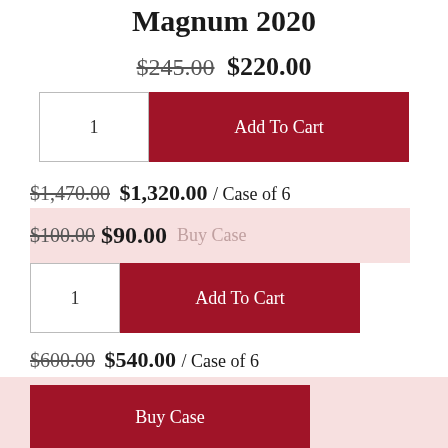Magnum 2020
$245.00 $220.00
1  Add To Cart
$1,470.00 $1,320.00 / Case of 6
$100.00 $90.00  Buy Case
1  Add To Cart
$600.00 $540.00 / Case of 6
Buy Case